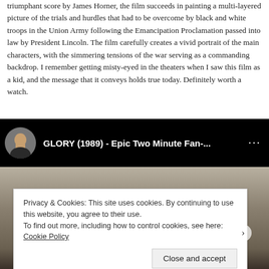triumphant score by James Horner, the film succeeds in painting a multi-layered picture of the trials and hurdles that had to be overcome by black and white troops in the Union Army following the Emancipation Proclamation passed into law by President Lincoln. The film carefully creates a vivid portrait of the main characters, with the simmering tensions of the war serving as a commanding backdrop. I remember getting misty-eyed in the theaters when I saw this film as a kid, and the message that it conveys holds true today. Definitely worth a watch.
[Figure (screenshot): Embedded YouTube-style video player showing 'GLORY (1989) - Epic Two Minute Fan-...' with a circular avatar thumbnail on left, video title in white on black header, and a cookie consent overlay on the video thumbnail area with 'Close and accept' button.]